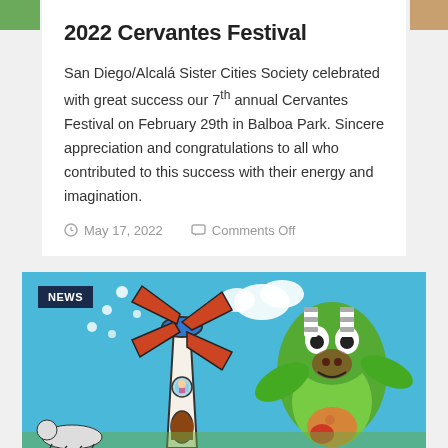2022 Cervantes Festival
San Diego/Alcalá Sister Cities Society celebrated with great success our 7th annual Cervantes Festival on February 29th in Balboa Park. Sincere appreciation and congratulations to all who contributed to this success with their energy and imagination.
May 17, 2022   Comments Off
[Figure (illustration): Colorful children's drawing showing a windmill with red sails on a blue background and a green creature/monster figure on the right side. A 'NEWS' badge appears in the top left corner of the image.]